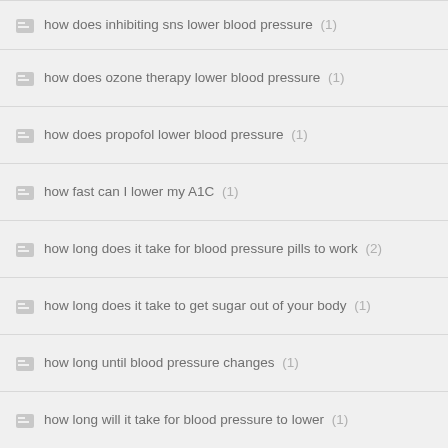how does inhibiting sns lower blood pressure (1)
how does ozone therapy lower blood pressure (1)
how does propofol lower blood pressure (1)
how fast can I lower my A1C (1)
how long does it take for blood pressure pills to work (2)
how long does it take to get sugar out of your body (1)
how long until blood pressure changes (1)
how long will it take for blood pressure to lower (1)
How Many Drops Of Hemp Cbd Is Needed Ror Anxiety (1)
How Many Hemp Cbd Plants Per Acre (1)